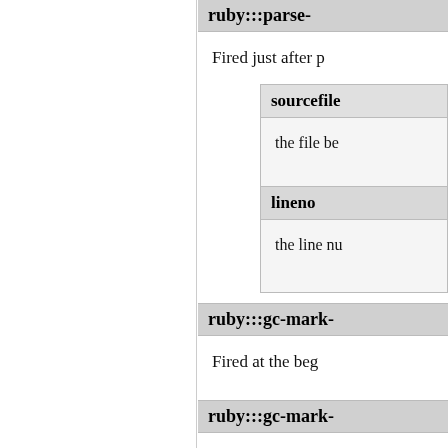ruby:::parse-...
Fired just after p
sourcefile
the file be
lineno
the line nu
ruby:::gc-mark-
Fired at the beg
ruby:::gc-mark-
Fired at the end